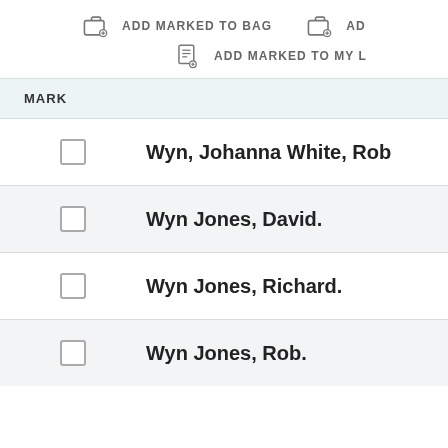[Figure (screenshot): Toolbar with 'ADD MARKED TO BAG' button icon]
ADD MARKED TO BAG
ADD MARKED TO MY L
| MARK |
| --- |
| Wyn, Johanna White, Rob |
| WynJones, David. |
| WynJones, Richard. |
| WynJones, Rob. |